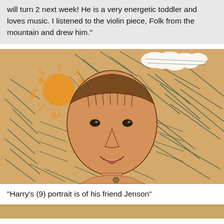will turn 2 next week! He is a very energetic toddler and loves music. I listened to the violin piece, Folk from the mountain and drew him."
[Figure (illustration): A child's crayon drawing of a person (portrait of friend Jenson) with a round orange face, dark hair, eyes, nose, and red smiling mouth. Background filled with dark teal/green scribbled lines. A yellow sun with rays is in the upper left. White cloud shapes at the top.]
"Harry's (9) portrait is of his friend Jenson"
[Figure (photo): Partially visible image at the bottom of the page, showing a warm amber/brown colored scene, cut off.]